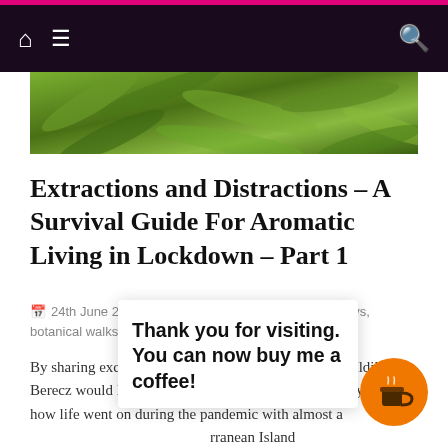Navigation bar with home, menu, and search icons
[Figure (photo): Hero image of green plants and foliage]
Extractions and Distractions – A Survival Guide For Aromatic Living in Lockdown – Part 1
24th June 2021   aromatherapy, aromatic journeys, botanical walks
By sharing excerpts from her journal, plant alchemist Ildiko Berecz would like to offer some highlights of the past year of how life went on during the pandemic with almost a…rranean Island o…l that the journal i…omr nor unb…a da with aro…mate and medicinal plants.
Thank you for visiting. You can now buy me a coffee!